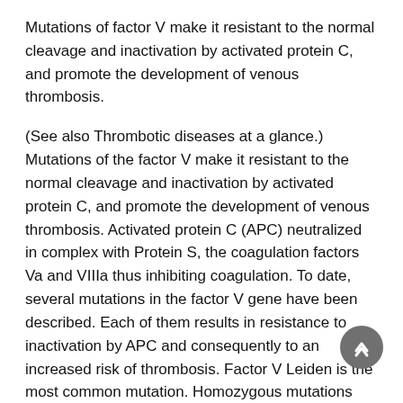Mutations of factor V make it resistant to the normal cleavage and inactivation by activated protein C, and promote the development of venous thrombosis.
(See also Thrombotic diseases at a glance.) Mutations of the factor V make it resistant to the normal cleavage and inactivation by activated protein C, and promote the development of venous thrombosis. Activated protein C (APC) neutralized in complex with Protein S, the coagulation factors Va and VIIIa thus inhibiting coagulation. To date, several mutations in the factor V gene have been described. Each of them results in resistance to inactivation by APC and consequently to an increased risk of thrombosis. Factor V Leiden is the most common mutation. Homozygous mutations increase the risk of thrombosis again significantly compared to the heterozygous mutations. Scheme of blood clotting Factor V...